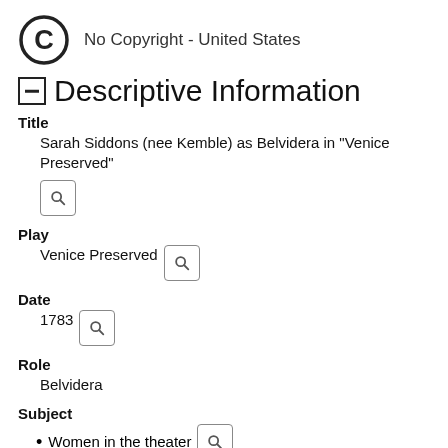[Figure (logo): Copyright symbol (C in circle) with text 'No Copyright - United States']
Descriptive Information
Title
Sarah Siddons (nee Kemble) as Belvidera in "Venice Preserved"
Play
Venice Preserved
Date
1783
Role
Belvidera
Subject
Women in the theater